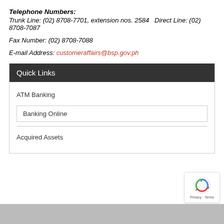Telephone Numbers:
Trunk Line: (02) 8708-7701, extension nos. 2584   Direct Line: (02) 8708-7087
Fax Number: (02) 8708-7088
E-mail Address: customeraffairs@bsp.gov.ph
Quick Links
ATM Banking
Banking Online
Acquired Assets
[Figure (logo): reCAPTCHA badge with recycling arrow icon and Privacy - Terms text]